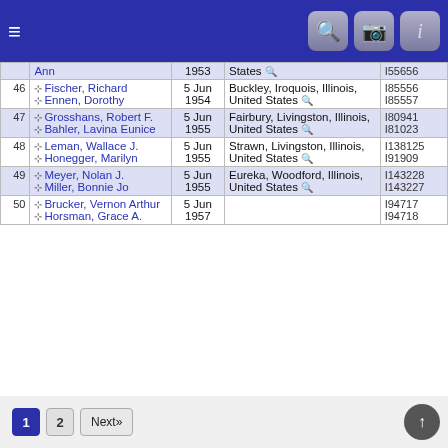Navigation header with menu, search, camera, and info icons
| # | Names | Date | Place | IDs |
| --- | --- | --- | --- | --- |
|  | Ann | 1953 | States | I55656 |
| 46 | Fischer, Richard / Ennen, Dorothy | 5 Jun 1954 | Buckley, Iroquois, Illinois, United States | I85556 I85557 |
| 47 | Grosshans, Robert F. / Bahler, Lavina Eunice | 5 Jun 1955 | Fairbury, Livingston, Illinois, United States | I80941 I81023 |
| 48 | Leman, Wallace J. / Honegger, Marilyn | 5 Jun 1955 | Strawn, Livingston, Illinois, United States | I138125 I91909 |
| 49 | Meyer, Nolan J. / Miller, Bonnie Jo | 5 Jun 1955 | Eureka, Woodford, Illinois, United States | I143228 I143227 |
| 50 | Brucker, Vernon Arthur / Horsman, Grace A. | 5 Jun 1957 |  | I94717 I94718 |
Pagination: 1 2 Next»